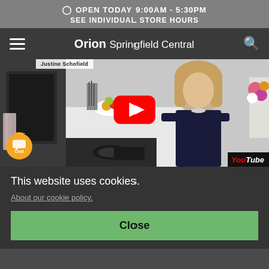OPEN TODAY 9:00AM - 5:30PM
SEE INDIVIDUAL STORE HOURS
Orion Springfield Central
[Figure (screenshot): Video thumbnail showing a woman in a kitchen with a YouTube play button overlay. A name label reads 'Justine Schofield'. A chat bubble with 'Chat' label appears bottom left. YouTube watermark appears bottom right.]
This website uses cookies.
About our cookie policy.
Ingredients
Close
50 g dark chocolate (70% cacao), finely chopped